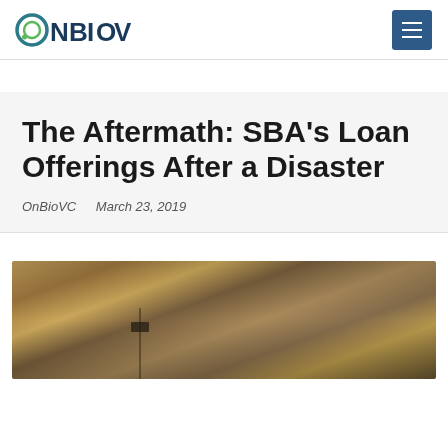ONBIOVC
The Aftermath: SBA's Loan Offerings After a Disaster
OnBioVC   March 23, 2019
[Figure (photo): Street scene photo, appears to show a disaster-affected area with buildings and a road sign]